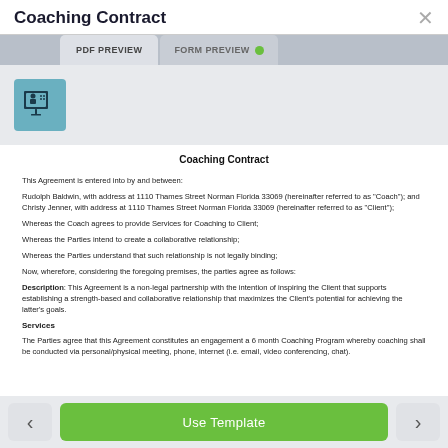Coaching Contract
[Figure (screenshot): UI screenshot showing PDF PREVIEW and FORM PREVIEW tabs with a coaching icon]
Coaching Contract
This Agreement is entered into by and between:
Rudolph Baldwin, with address at 1110 Thames Street Norman Florida 33069 (hereinafter referred to as "Coach"); and Christy Jenner, with address at 1110 Thames Street Norman Florida 33069 (hereinafter referred to as "Client");
Whereas the Coach agrees to provide Services for Coaching to Client;
Whereas the Parties intend to create a collaborative relationship;
Whereas the Parties understand that such relationship is not legally binding;
Now, wherefore, considering the foregoing premises, the parties agree as follows:
Description: This Agreement is a non-legal partnership with the intention of inspiring the Client that supports establishing a strength-based and collaborative relationship that maximizes the Client's potential for achieving the latter's goals.
Services
The Parties agree that this Agreement constitutes an engagement a 6 month Coaching Program whereby coaching shall be conducted via personal/physical meeting, phone, internet (i.e. email, video conferencing, chat).
Use Template